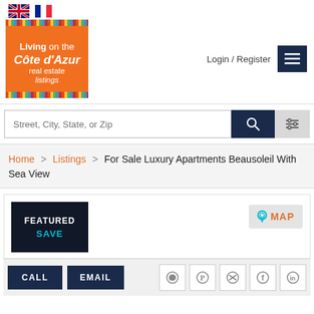[Figure (logo): Living on the Côte d'Azur real estate listings logo on orange background with colored stripe borders]
Login / Register
Street, City, State, or Zip
Home > Listings > For Sale Luxury Apartments Beausoleil With Sea View
FEATURED
SAVE
MAP
CALL
EMAIL